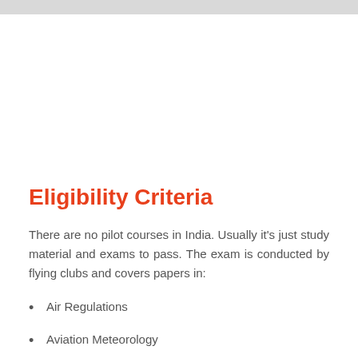Eligibility Criteria
There are no pilot courses in India. Usually it's just study material and exams to pass. The exam is conducted by flying clubs and covers papers in:
Air Regulations
Aviation Meteorology
Air Navigation Air Technical